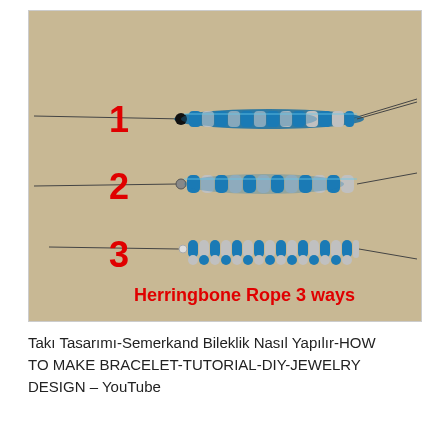[Figure (photo): Photo showing three herringbone rope bead bracelets labeled 1, 2, and 3 in red, arranged on a tan/beige background. Each rope is made of blue and silver/white beads in a twisted herringbone pattern. The text 'Herringbone Rope 3 ways' appears in bold red at the bottom of the image.]
Takı Tasarımı-Semerkand Bileklik Nasıl Yapılır-HOW TO MAKE BRACELET-TUTORIAL-DIY-JEWELRY DESIGN – YouTube